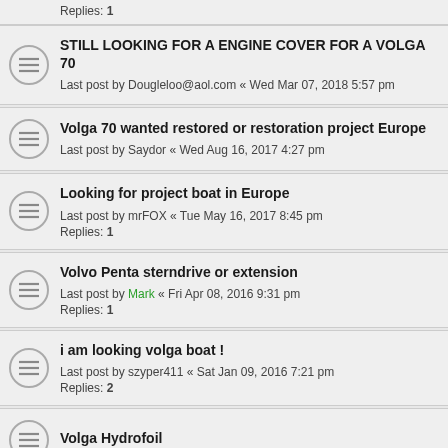Replies: 1
STILL LOOKING FOR A ENGINE COVER FOR A VOLGA 70
Last post by Dougleloo@aol.com « Wed Mar 07, 2018 5:57 pm
Volga 70 wanted restored or restoration project Europe
Last post by Saydor « Wed Aug 16, 2017 4:27 pm
Looking for project boat in Europe
Last post by mrFOX « Tue May 16, 2017 8:45 pm
Replies: 1
Volvo Penta sterndrive or extension
Last post by Mark « Fri Apr 08, 2016 9:31 pm
Replies: 1
i am looking volga boat !
Last post by szyper411 « Sat Jan 09, 2016 7:21 pm
Replies: 2
Volga Hydrofoil